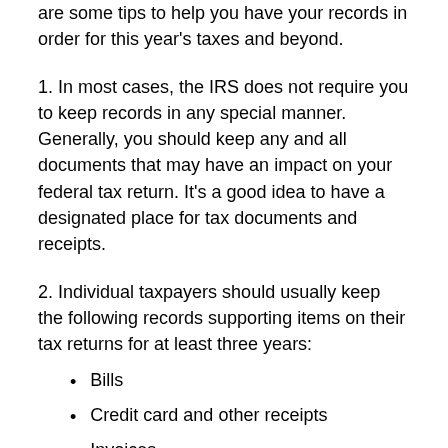are some tips to help you have your records in order for this year's taxes and beyond.
1. In most cases, the IRS does not require you to keep records in any special manner. Generally, you should keep any and all documents that may have an impact on your federal tax return. It's a good idea to have a designated place for tax documents and receipts.
2. Individual taxpayers should usually keep the following records supporting items on their tax returns for at least three years:
Bills
Credit card and other receipts
Invoices
Mileage logs
Canceled, imaged or substitute checks or any other proof of payment
Any other records to support deductions or credits you